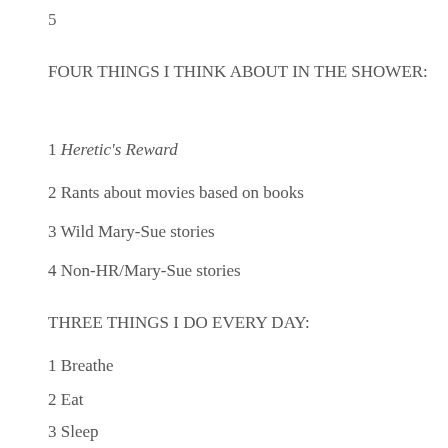5
FOUR THINGS I THINK ABOUT IN THE SHOWER:
1 Heretic's Reward
2 Rants about movies based on books
3 Wild Mary-Sue stories
4 Non-HR/Mary-Sue stories
THREE THINGS I DO EVERY DAY:
1 Breathe
2 Eat
3 Sleep
(e.g. think about Saitou/Sano)